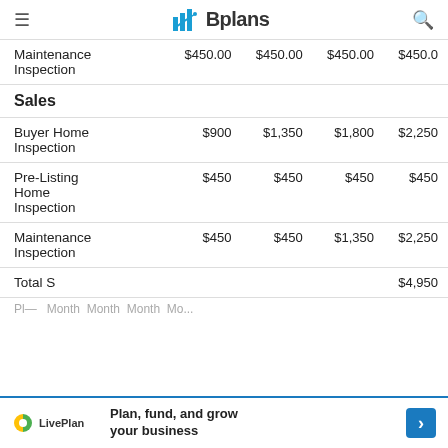Bplans
|  | Col1 | Col2 | Col3 | Col4 |
| --- | --- | --- | --- | --- |
| Maintenance Inspection | $450.00 | $450.00 | $450.00 | $450.0 |
| Sales |  |  |  |  |
| Buyer Home Inspection | $900 | $1,350 | $1,800 | $2,250 |
| Pre-Listing Home Inspection | $450 | $450 | $450 | $450 |
| Maintenance Inspection | $450 | $450 | $1,350 | $2,250 |
| Total S... |  |  |  | $4,950 |